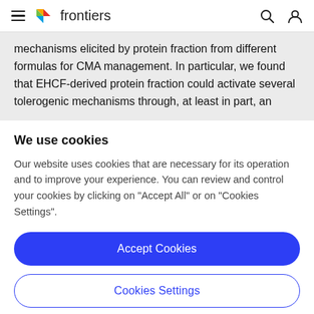frontiers
mechanisms elicited by protein fraction from different formulas for CMA management. In particular, we found that EHCF-derived protein fraction could activate several tolerogenic mechanisms through, at least in part, an
We use cookies
Our website uses cookies that are necessary for its operation and to improve your experience. You can review and control your cookies by clicking on "Accept All" or on "Cookies Settings".
Accept Cookies
Cookies Settings